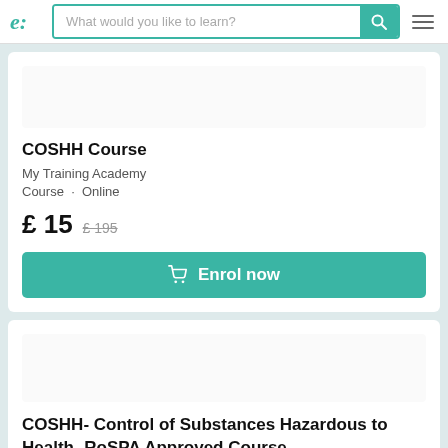e: [logo] | What would you like to learn? [search bar] [menu]
COSHH Course
My Training Academy
Course · Online
£ 15  £ 195
Enrol now
COSHH- Control of Substances Hazardous to Health- RoSPA Approved Course